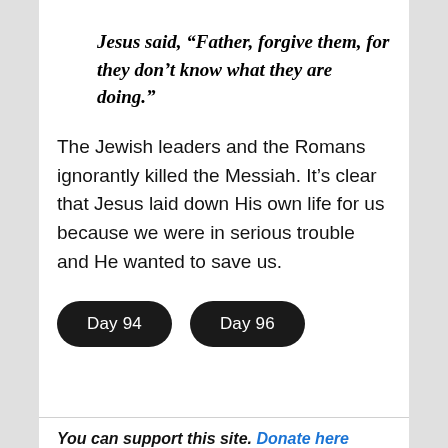Jesus said, “Father, forgive them, for they don’t know what they are doing.”
The Jewish leaders and the Romans ignorantly killed the Messiah. It’s clear that Jesus laid down His own life for us because we were in serious trouble and He wanted to save us.
Day 94
Day 96
You can support this site. Donate here